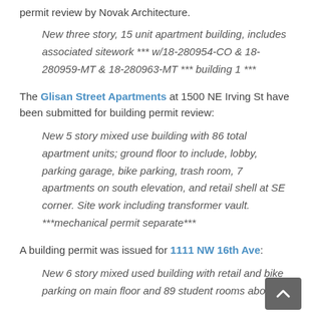permit review by Novak Architecture.
New three story, 15 unit apartment building, includes associated sitework *** w/18-280954-CO & 18-280959-MT & 18-280963-MT *** building 1 ***
The Glisan Street Apartments at 1500 NE Irving St have been submitted for building permit review:
New 5 story mixed use building with 86 total apartment units; ground floor to include, lobby, parking garage, bike parking, trash room, 7 apartments on south elevation, and retail shell at SE corner. Site work including transformer vault. ***mechanical permit separate***
A building permit was issued for 1111 NW 16th Ave:
New 6 story mixed used building with retail and bike parking on main floor and 89 student rooms above